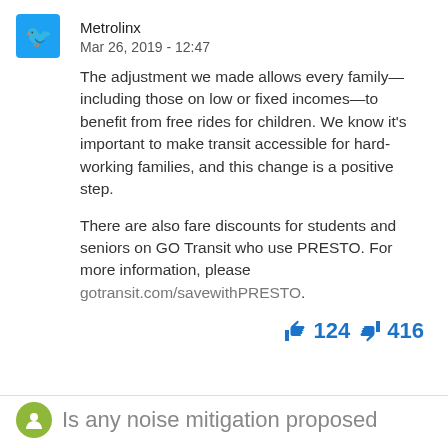Metrolinx
Mar 26, 2019 - 12:47
The adjustment we made allows every family—including those on low or fixed incomes—to benefit from free rides for children. We know it's important to make transit accessible for hard-working families, and this change is a positive step.
There are also fare discounts for students and seniors on GO Transit who use PRESTO. For more information, please gotransit.com/savewithPRESTO.
👍 124 👎 416
Is any noise mitigation proposed